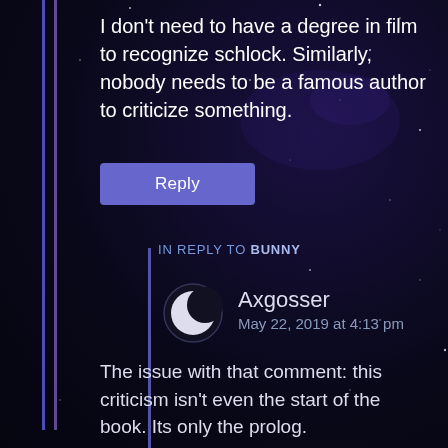I don't need to have a degree in film to recognize schlock. Similarly, nobody needs to be a famous author to criticize something.
Reply
IN REPLY TO BUNNY
Axgosser
May 22, 2019 at 4:13 pm
The issue with that comment: this criticism isn't even the start of the book. Its only the prolog.